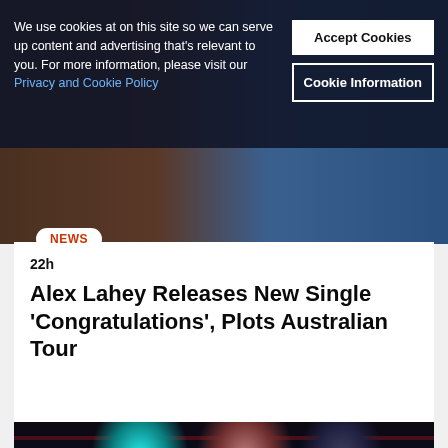We use cookies at on this site so we can serve up content and advertising that's relevant to you. For more information, please visit our Privacy and Cookie Policy | Accept Cookies | Cookie Information
[Figure (photo): Partial hero photograph showing dark background with brownish and blue tones, partially obscured by cookie notice overlay]
NEWS
22h
Alex Lahey Releases New Single 'Congratulations', Plots Australian Tour
[Figure (photo): Bottom cropped photo showing multiple faces/people lit with neon teal and red lighting against a dark background with vertical red light strips]